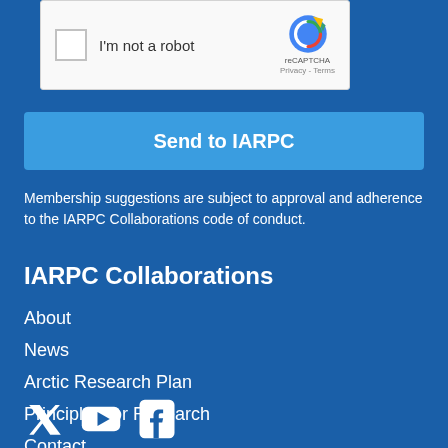[Figure (screenshot): reCAPTCHA widget with checkbox labeled 'I'm not a robot' and reCAPTCHA logo on the right]
Send to IARPC
Membership suggestions are subject to approval and adherence to the IARPC Collaborations code of conduct.
IARPC Collaborations
About
News
Arctic Research Plan
Principles for Research
Contact
[Figure (illustration): Social media icons: Twitter bird, YouTube play button, Facebook F]